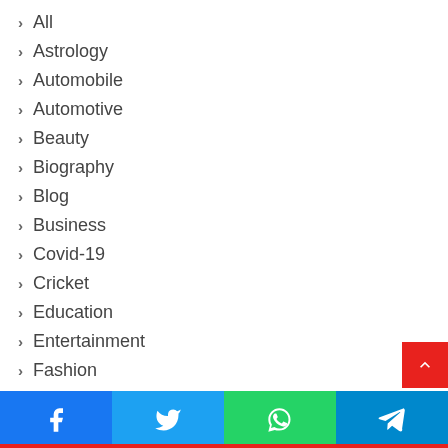All
Astrology
Automobile
Automotive
Beauty
Biography
Blog
Business
Covid-19
Cricket
Education
Entertainment
Fashion